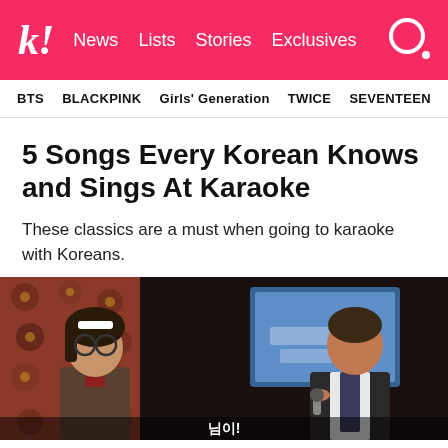k! News Lists Stories Exclusives
BTS   BLACKPINK   Girls' Generation   TWICE   SEVENTEEN
5 Songs Every Korean Knows and Sings At Karaoke
These classics are a must when going to karaoke with Koreans.
[Figure (photo): Two people at a karaoke room, one wearing glasses and school uniform with a bow tie, another in vest holding a microphone, with a karaoke screen glowing blue in the background and floral wallpaper visible]